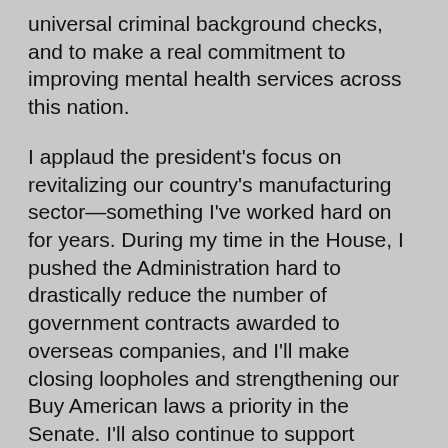universal criminal background checks, and to make a real commitment to improving mental health services across this nation.
I applaud the president's focus on revitalizing our country's manufacturing sector—something I've worked hard on for years. During my time in the House, I pushed the Administration hard to drastically reduce the number of government contracts awarded to overseas companies, and I'll make closing loopholes and strengthening our Buy American laws a priority in the Senate. I'll also continue to support policies that focus on investing in vocational education and cutting-edge manufacturing technologies so that the United States, and especially Connecticut, is the most attractive place for the next generation of manufacturers to set up shop."